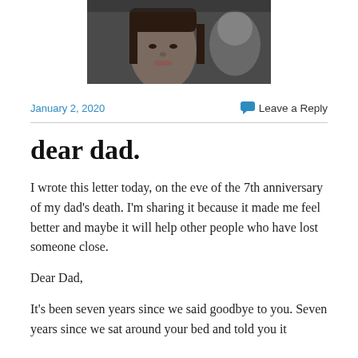[Figure (photo): A close-up photo of a person's face, partially visible, with dark hair. Another figure is partially visible to the right.]
January 2, 2020
Leave a Reply
dear dad.
I wrote this letter today, on the eve of the 7th anniversary of my dad's death. I'm sharing it because it made me feel better and maybe it will help other people who have lost someone close.
Dear Dad,
It's been seven years since we said goodbye to you. Seven years since we sat around your bed and told you it